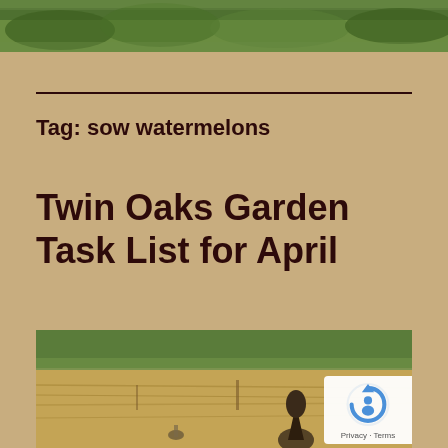[Figure (photo): Garden photo showing green foliage at the top of the page]
Tag: sow watermelons
Twin Oaks Garden Task List for April
[Figure (photo): Garden field photo showing dried grass, green background vegetation, and a dark plant shoot in the foreground]
Privacy · Terms